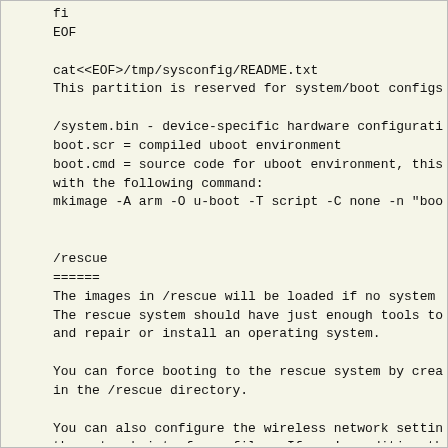fi
EOF

cat<<EOF>/tmp/sysconfig/README.txt
This partition is reserved for system/boot configs

/system.bin - device-specific hardware configurati
boot.scr = compiled uboot environment
boot.cmd = source code for uboot environment, this
with the following command:
mkimage -A arm -O u-boot -T script -C none -n "boo


/rescue
======
The images in /rescue will be loaded if no system
The rescue system should have just enough tools to
and repair or install an operating system.

You can force booting to the rescue system by crea
in the /rescue directory.

You can also configure the wireless network settin
the network_interfaces file.  If you're editing th
an editor that will preserve the UNIX line endings

The rescue system includes a precompiled fexc bina
at http://github.com/amery/sunxi-tools
EOF